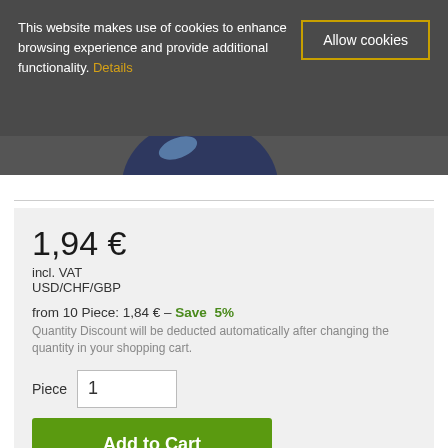This website makes use of cookies to enhance browsing experience and provide additional functionality. Details
Allow cookies
[Figure (photo): Partial product image on dark background]
1,94 €
incl. VAT
USD/CHF/GBP
from 10 Piece: 1,84 € – Save  5%
Quantity Discount will be deducted automatically after changing the quantity in your shopping cart.
Piece  1
Add to Cart
Show commercial prices